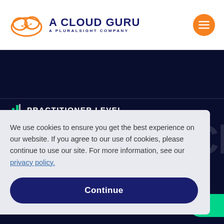[Figure (logo): A Cloud Guru logo - orange cloud icon with text 'A CLOUD GURU' and subtitle 'A PLURALSIGHT COMPANY']
[Figure (other): Orange circular hamburger menu button with three horizontal lines]
PRACTITIONER LEVEL
We use cookies to ensure you get the best experience on our website. If you agree to our use of cookies, please continue to use our site. For more information, see our privacy policy.
Continue